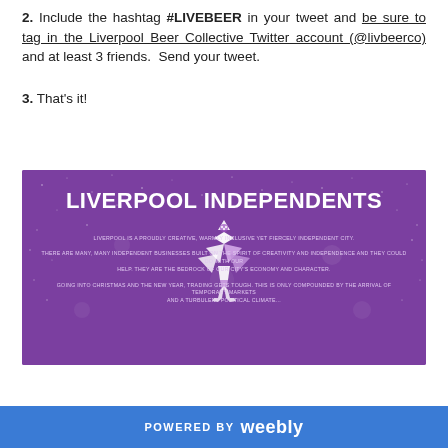2. Include the hashtag #LIVEBEER in your tweet and be sure to tag in the Liverpool Beer Collective Twitter account (@livbeerco) and at least 3 friends. Send your tweet.
3. That's it!
[Figure (illustration): Purple background promotional image for Liverpool Independents featuring a geometric origami-style Liver Bird logo, white text title 'LIVERPOOL INDEPENDENTS', starfield background, and three lines of small white text: 'LIVERPOOL IS A PROUDLY CREATIVE, WARMLY INCLUSIVE YET FIERCELY INDEPENDENT CITY.', 'THERE ARE MANY, MANY INDEPENDENT BUSINESSES BUILT ON THE SPIRIT OF CREATIVITY AND INDEPENDENCE AND THEY COULD DO WITH OUR HELP. THEY ARE THE BEDROCK OF OUR CITY'S ECONOMY AND CHARACTER.', 'GOING INTO CHRISTMAS AND THE NEW YEAR, TRADING GETS TOUGH. THIS IS ONLY COMPOUNDED BY THE ARRIVAL OF TEMPORARY MARKETS AND A TURBULENT POLITICAL CLIMATE...']
POWERED BY weebly